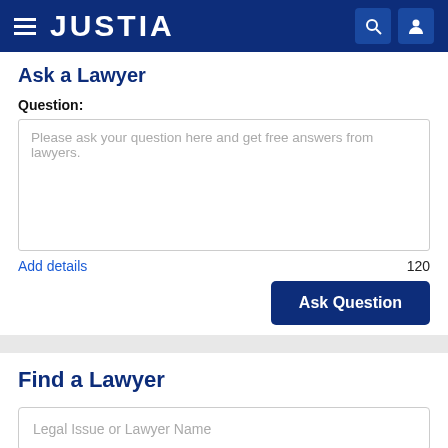JUSTIA
Ask a Lawyer
Question:
Please ask your question here and get free answers from lawyers.
Add details
120
Ask Question
Find a Lawyer
Legal Issue or Lawyer Name
New York
Search